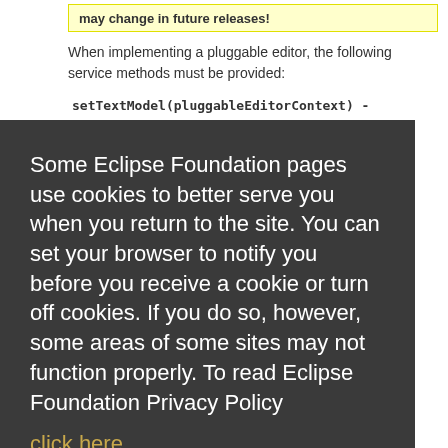may change in future releases!
When implementing a pluggable editor, the following service methods must be provided:
setTextModel(pluggableEditorContext) - returns Promise
Some Eclipse Foundation pages use cookies to better serve you when you return to the site. You can set your browser to notify you before you receive a cookie or turn off cookies. If you do so, however, some areas of some sites may not function properly. To read Eclipse Foundation Privacy Policy click here.
Decline
Allow cookies
active key bindings. The editor should register